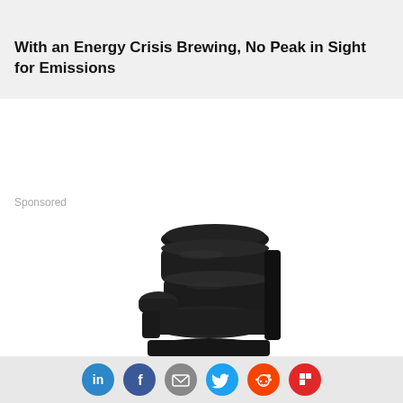10.14.21
With an Energy Crisis Brewing, No Peak in Sight for Emissions
Sponsored
[Figure (photo): Black leather recliner chair, partially visible, photographed against a white background]
[Figure (infographic): Social sharing icons row: LinkedIn (blue), Facebook (dark blue), Email (gray), Twitter (light blue), Reddit (orange), Flipboard (red)]